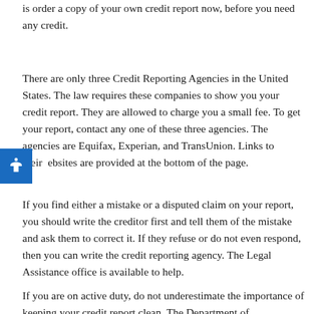is order a copy of your own credit report now, before you need any credit.
There are only three Credit Reporting Agencies in the United States. The law requires these companies to show you your credit report. They are allowed to charge you a small fee. To get your report, contact any one of these three agencies. The agencies are Equifax, Experian, and TransUnion. Links to their websites are provided at the bottom of the page.
If you find either a mistake or a disputed claim on your report, you should write the creditor first and tell them of the mistake and ask them to correct it. If they refuse or do not even respond, then you can write the credit reporting agency. The Legal Assistance office is available to help.
If you are on active duty, do not underestimate the importance of keeping your credit report clean. The Department of